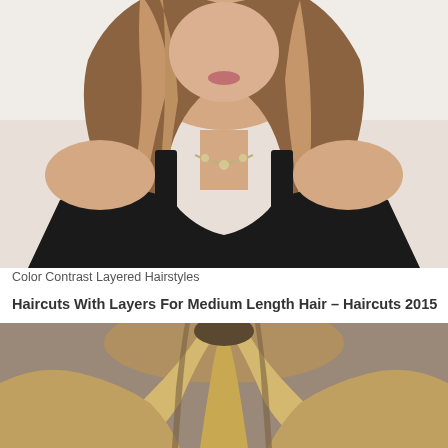[Figure (photo): Woman with long layered brown hair with highlights, wearing a black top and silver necklace, against a white background]
Color Contrast Layered Hairstyles
Haircuts With Layers For Medium Length Hair – Haircuts 2015
[Figure (photo): Close-up top view of blonde layered hair with highlights and dark roots]